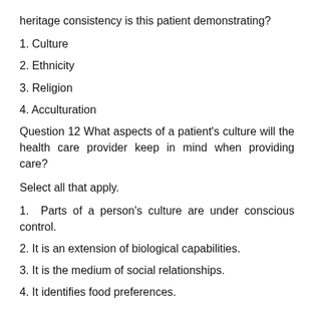heritage consistency is this patient demonstrating?
1. Culture
2. Ethnicity
3. Religion
4. Acculturation
Question 12 What aspects of a patient's culture will the health care provider keep in mind when providing care?
Select all that apply.
1. Parts of a person's culture are under conscious control.
2. It is an extension of biological capabilities.
3. It is the medium of social relationships.
4. It identifies food preferences.